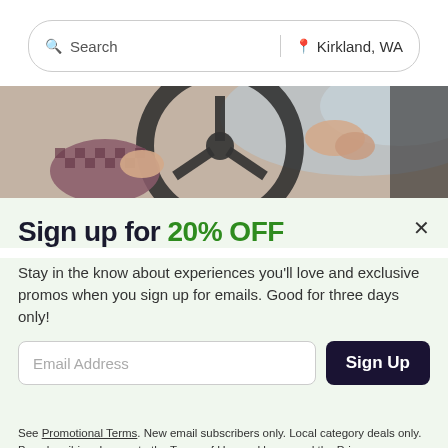[Figure (screenshot): Search bar with magnifying glass icon and text 'Search', a vertical divider, a location pin icon and 'Kirkland, WA' text]
[Figure (photo): Close-up photo of hands on a car steering wheel, person wearing a patterned shirt]
Sign up for 20% OFF
Stay in the know about experiences you'll love and exclusive promos when you sign up for emails. Good for three days only!
Email Address
Sign Up
See Promotional Terms. New email subscribers only. Local category deals only. By subscribing, I agree to the Terms of Use and have read the Privacy Statement